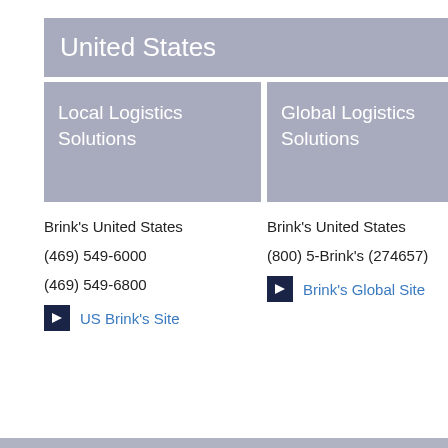United States
Local Logistics Solutions
Global Logistics Solutions
Brink's United States
(469) 549-6000
(469) 549-6800
US Brink's Site
Brink's United States
(800) 5-Brink's (274657)
Brink's Global Site